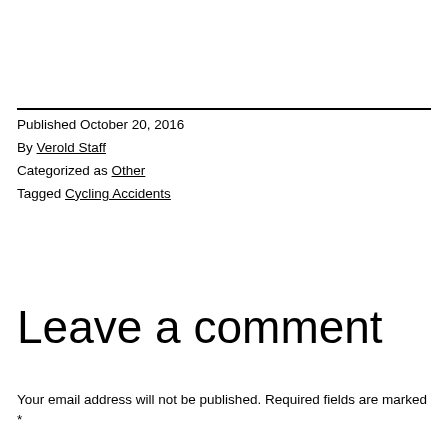Published October 20, 2016
By Verold Staff
Categorized as Other
Tagged Cycling Accidents
Leave a comment
Your email address will not be published. Required fields are marked *